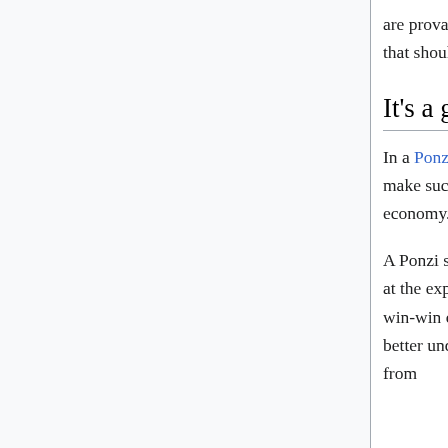are provably destroyed or lost, there is no census that this is a bad thing and something that should be re-circulated.
It's a giant ponzi scheme
In a Ponzi Scheme, the founders persuade investors that they'll profit. Bitcoin does not make such a guarantee. There is no central entity, just individuals building an economy.
A Ponzi scheme is a zero sum game. In a ponzi scheme, early adopters can only profit at the expense of late adopters, and the late adopters always lose. Bitcoin can have a win-win outcome. Earlier adopters profit from the rise in value as Bitcoin becomes better understood and in turn demanded by the public at large. All adopters benefit from